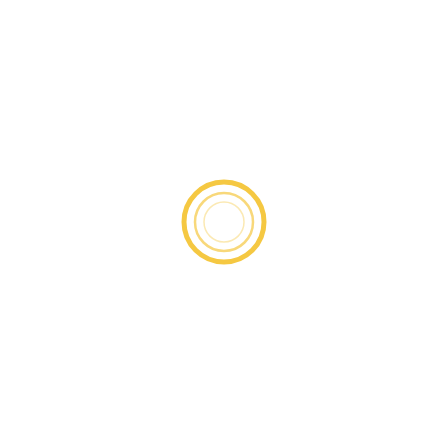[Figure (other): A small circular ring/donut shape with a golden-yellow/amber color, consisting of two concentric circles forming a ring outline, centered slightly below the middle of the page on a white background.]